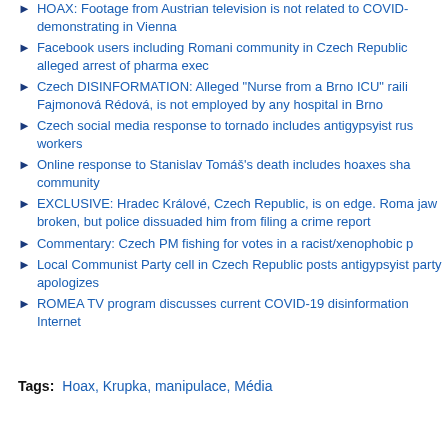HOAX: Footage from Austrian television is not related to COVID demonstrating in Vienna
Facebook users including Romani community in Czech Republic alleged arrest of pharma exec
Czech DISINFORMATION: Alleged "Nurse from a Brno ICU" railing Fajmonová Rédová, is not employed by any hospital in Brno
Czech social media response to tornado includes antigypsyist rus workers
Online response to Stanislav Tomáš's death includes hoaxes sha community
EXCLUSIVE: Hradec Králové, Czech Republic, is on edge. Roma jaw broken, but police dissuaded him from filing a crime report
Commentary: Czech PM fishing for votes in a racist/xenophobic p
Local Communist Party cell in Czech Republic posts antigypsyist party apologizes
ROMEA TV program discusses current COVID-19 disinformation Internet
Tags: Hoax, Krupka, manipulace, Média